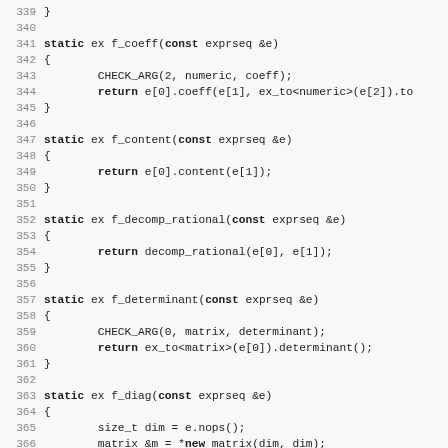[Figure (screenshot): Source code listing in C++ showing static functions: f_coeff, f_content, f_decomp_rational, f_determinant, and f_diag, with line numbers 339-371.]